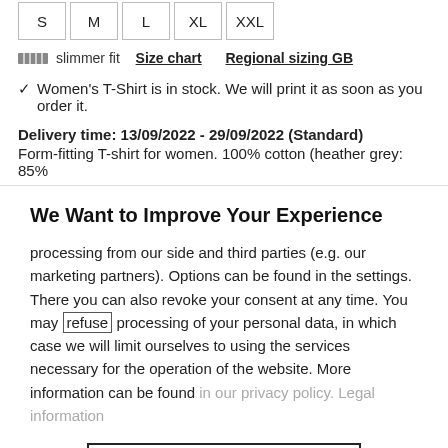[Figure (other): Size selection boxes showing S, M, L, XL, XXL options in rectangular outline buttons]
slimmer fit  Size chart  Regional sizing GB
✓ Women's T-Shirt is in stock. We will print it as soon as you order it.
Delivery time: 13/09/2022 - 29/09/2022 (Standard)
Form-fitting T-shirt for women. 100% cotton (heather grey: 85%
We Want to Improve Your Experience
processing from our side and third parties (e.g. our marketing partners). Options can be found in the settings. There you can also revoke your consent at any time. You may refuse processing of your personal data, in which case we will limit ourselves to using the services necessary for the operation of the website. More information can be found in our privacy policy. Legal information
Settings